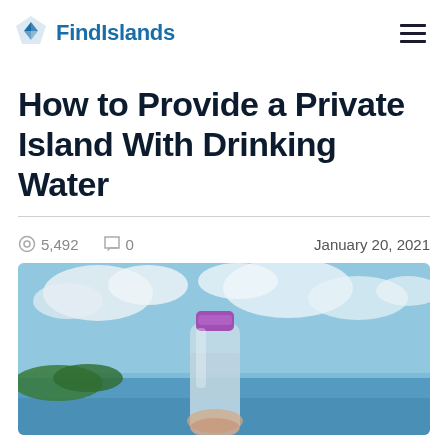FindIslands
How to Provide a Private Island With Drinking Water
5,492 views  0 comments  January 20, 2021
[Figure (photo): A hand holding a clear plastic water bottle with a purple cap, set against a blurred background of blue sky, white clouds, and green island vegetation with ocean water visible.]